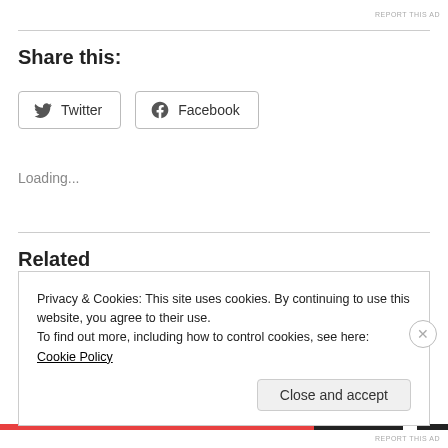Share this:
Twitter
Facebook
Loading...
Related
Excerpt from “The Chromatic Books of Horrors & Heroes,” the
Privacy & Cookies: This site uses cookies. By continuing to use this website, you agree to their use.
To find out more, including how to control cookies, see here: Cookie Policy
Close and accept